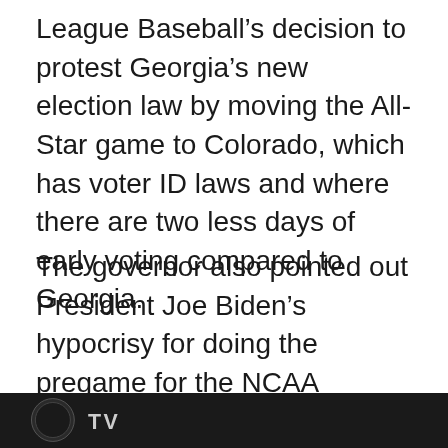League Baseball's decision to protest Georgia's new election law by moving the All-Star game to Colorado, which has voter ID laws and where there are two less days of early voting compared to Georgia.
The governor also pointed out President Joe Biden's hypocrisy for doing the pregame for the NCAA championship in Indiana, the birthplace of photo ID voting requirement and the place “where the first lawsuit was upheld that says it's okay to have a voter ID.”
[Figure (screenshot): Dark banner/image strip at the bottom of the page with a logo and partial text visible]